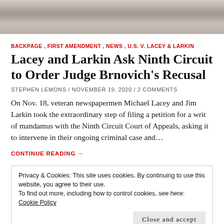[Figure (photo): Grayscale stone/marble architectural detail, partial top image]
BACKPAGE , FIRST AMENDMENT , NEWS , U.S. V. LACEY & LARKIN
Lacey and Larkin Ask Ninth Circuit to Order Judge Brnovich's Recusal
STEPHEN LEMONS / NOVEMBER 19, 2020 / 2 COMMENTS
On Nov. 18, veteran newspapermen Michael Lacey and Jim Larkin took the extraordinary step of filing a petition for a writ of mandamus with the Ninth Circuit Court of Appeals, asking it to intervene in their ongoing criminal case and...
CONTINUE READING →
Privacy & Cookies: This site uses cookies. By continuing to use this website, you agree to their use.
To find out more, including how to control cookies, see here: Cookie Policy
Close and accept
[Figure (photo): Partial bottom image, colorful/mixed content]